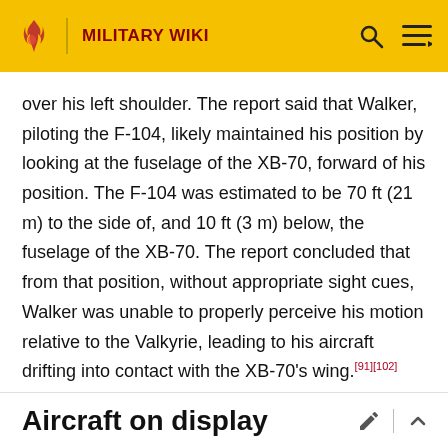MILITARY WIKI
over his left shoulder. The report said that Walker, piloting the F-104, likely maintained his position by looking at the fuselage of the XB-70, forward of his position. The F-104 was estimated to be 70 ft (21 m) to the side of, and 10 ft (3 m) below, the fuselage of the XB-70. The report concluded that from that position, without appropriate sight cues, Walker was unable to properly perceive his motion relative to the Valkyrie, leading to his aircraft drifting into contact with the XB-70's wing.[91][102] The accident investigation also pointed to the wake vortex off the XB-70's right wingtip as the reason for the F-104's sudden roll over and into the bomber.[102]
Aircraft on display